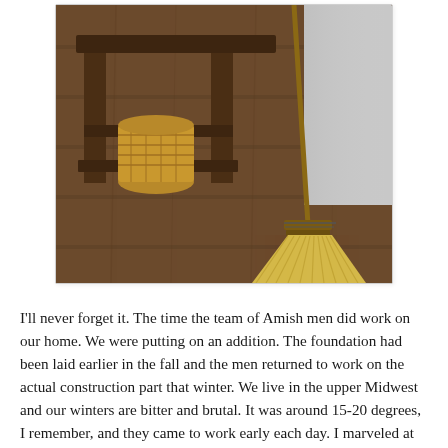[Figure (photo): A photograph of a straw broom leaning against a wall next to a wooden bench or stool, on rustic wooden plank flooring. A woven basket is visible beneath the bench.]
I'll never forget it. The time the team of Amish men did work on our home. We were putting on an addition. The foundation had been laid earlier in the fall and the men returned to work on the actual construction part that winter. We live in the upper Midwest and our winters are bitter and brutal. It was around 15-20 degrees, I remember, and they came to work early each day. I marveled at